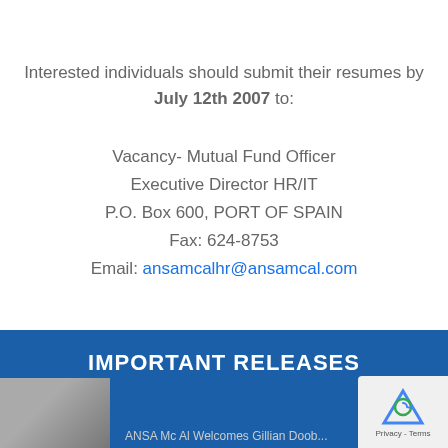Interested individuals should submit their resumes by July 12th 2007 to:
Vacancy- Mutual Fund Officer
Executive Director HR/IT
P.O. Box 600, PORT OF SPAIN
Fax: 624-8753
Email: ansamcalhr@ansamcal.com
IMPORTANT RELEASES
[Figure (photo): Photo of a person, partially visible at bottom left corner of page]